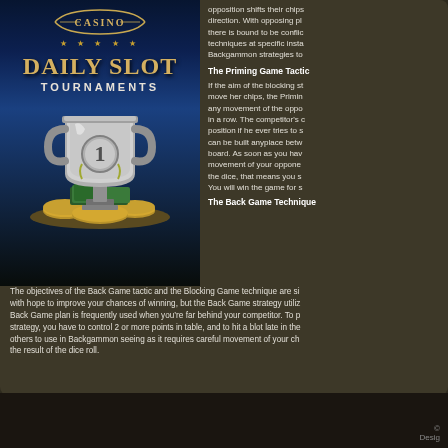[Figure (photo): Casino Daily Slot Tournaments promotional image with trophy and coins on dark blue background]
opposition shifts their chips direction. With opposing p there is bound to be conflic techniques at specific inst Backgammon strategies to
The Priming Game Tactic
If the aim of the blocking s move her chips, the Primin any movement of the oppo in a row. The competitor's position if he ever tries to s can be built anyplace betw board. As soon as you hav movement of your oppone the dice, that means you s You will win the game for s
The Back Game Technique
The objectives of the Back Game tactic and the Blocking Game technique are si with hope to improve your chances of winning, but the Back Game strategy utiliz Back Game plan is frequently used when you're far behind your competitor. To p strategy, you have to control 2 or more points in table, and to hit a blot late in the others to use in Backgammon seeing as it requires careful movement of your ch the result of the dice roll.
Posted in Backgammon | No Comments »
© Desig